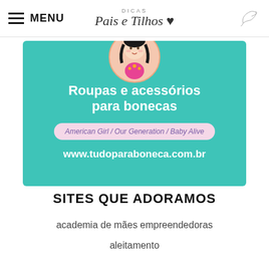MENU | Dicas Pais e Filhos
[Figure (illustration): Advertisement banner for tudoparaboneca.com.br showing a cartoon doll girl on a teal background with text: Roupas e acessórios para bonecas, American Girl / Our Generation / Baby Alive, www.tudoparaboneca.com.br]
SITES QUE ADORAMOS
academia de mães empreendedoras
aleitamento